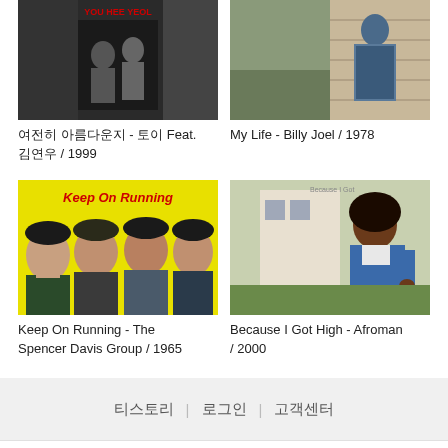[Figure (photo): Album cover for 여전히 아름다운지 - 토이 Feat. 김연우 / 1999, showing black and white image with red text YOU HEE YEOL]
여전히 아름다운지 - 토이 Feat. 김연우 / 1999
[Figure (photo): Album cover for My Life - Billy Joel / 1978, showing person standing outdoors in plaid jacket]
My Life - Billy Joel / 1978
[Figure (photo): Album cover for Keep On Running - The Spencer Davis Group / 1965, yellow background with red text and band photo]
Keep On Running - The Spencer Davis Group / 1965
[Figure (photo): Album cover for Because I Got High - Afroman / 2000, showing man in blue shirt outdoors]
Because I Got High - Afroman / 2000
티스토리 | 로그인 | 고객센터